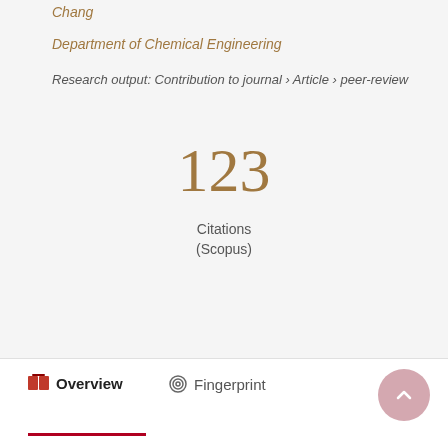Chang
Department of Chemical Engineering
Research output: Contribution to journal › Article › peer-review
123
Citations
(Scopus)
Overview
Fingerprint